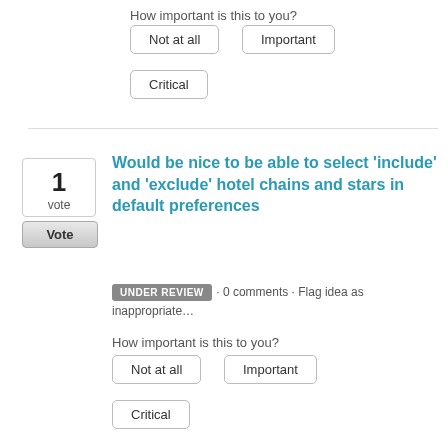How important is this to you?
Not at all
Important
Critical
Would be nice to be able to select 'include' and 'exclude' hotel chains and stars in default preferences
UNDER REVIEW · 0 comments · Flag idea as inappropriate…
How important is this to you?
Not at all
Important
Critical